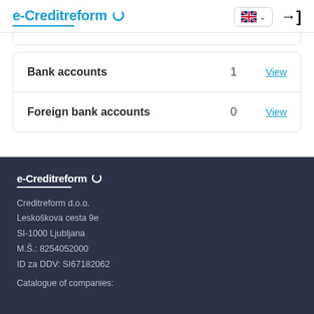e-Creditreform
|  |  |  |
| --- | --- | --- |
| Bank accounts | 1 | View |
| Foreign bank accounts | 0 | View |
e-Creditreform
Creditreform d.o.o.
Leskoškova cesta 9e
SI-1000 Ljubljana
M.Š.: 8254052000
ID za DDV: SI67182062
Catalogue of companies: